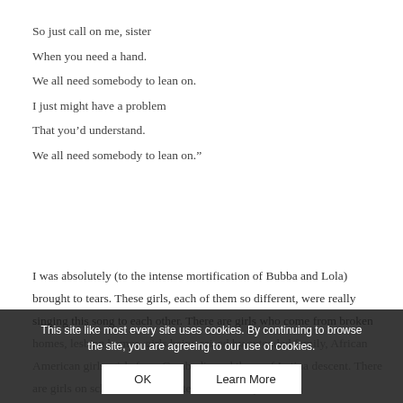So just call on me, sister
When you need a hand.
We all need somebody to lean on.
I just might have a problem
That you’d understand.
We all need somebody to lean on.”
I was absolutely (to the intense mortification of Bubba and Lola) brought to tears. These girls, each of them so different, were really singing this song to each other. There are girls who come from broken homes, lesbian homes, girls being raised by extended family, African American girls, girls from Cambodia and those of Latina descent. There are girls on scholarships and one whose brother was recently killed in Afghanistan, girls with learning disabilities and one who is repeating
This site like most every site uses cookies. By continuing to browse the site, you are agreeing to our use of cookies.